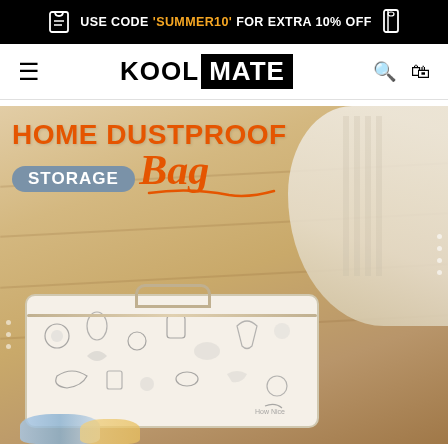USE CODE 'SUMMER10' FOR EXTRA 10% OFF
KOOL MATE
[Figure (photo): Product hero image showing a person placing items into a white dustproof storage bag with cartoon animal prints on a wooden floor. Overlaid text reads HOME DUSTPROOF STORAGE Bag.]